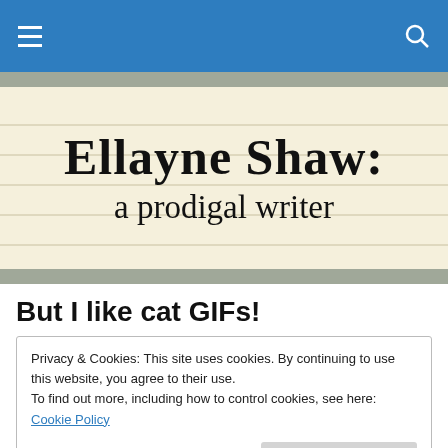Navigation bar with hamburger menu and search icon
[Figure (illustration): Ellayne Shaw: a prodigal writer — handwritten cursive logo on lined notebook paper background]
But I like cat GIFs!
Privacy & Cookies: This site uses cookies. By continuing to use this website, you agree to their use.
To find out more, including how to control cookies, see here: Cookie Policy
Close and accept
because, well, have you looked at English phonology